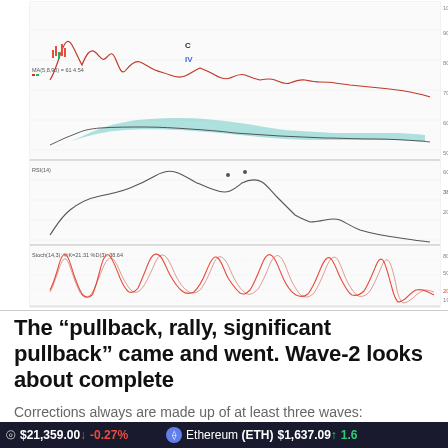[Figure (continuous-plot): Multi-panel stock/crypto technical analysis chart showing price action with candlesticks and moving averages (top panel), RSI-style oscillator (middle panel), and stochastic oscillator (bottom panel). Date axis spans approximately May through November. Price panel shows two lines with a teal/blue filled area between them representing a Ichimoku cloud or MA band. Bottom oscillator shows two oscillating lines cycling between roughly 20 and 80.]
The “pullback, rally, significant pullback” came and went. Wave-2 looks about complete
Corrections always are made up of at least three waves:
Bitcoin (BTC) $21,359.00 ↓ -0.27%    Ethereum (ETH) $1,637.09 ↑ 1.6...